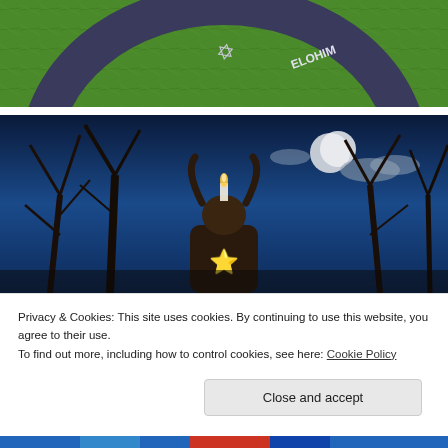[Figure (photo): Aerial/ground-level view of a circular ritual ring on green grass. The dark ring has white text reading 'TETRAGRAMMATON' and 'ELOHIM' around the circumference, with a Star of David symbol visible in the center.]
[Figure (photo): Dark fantasy painting of a horned figure (Baphomet-like) with a candle on its head and a pentagram star on its chest, set against a twilight blue forest scene with a full moon and bare trees.]
Privacy & Cookies: This site uses cookies. By continuing to use this website, you agree to their use.
To find out more, including how to control cookies, see here: Cookie Policy
[Figure (photo): Partially visible colorful image at the bottom of the page, cropped.]